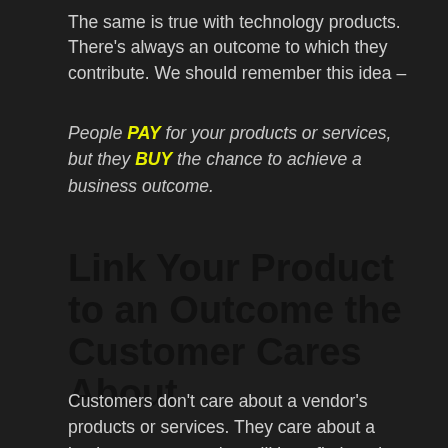The same is true with technology products. There's always an outcome to which they contribute. We should remember this idea –
People PAY for your products or services, but they BUY the chance to achieve a business outcome.
Link Your Product to an Outcome the Customer Cares About
Customers don't care about a vendor's products or services. They care about a business outcome that will benefit them in some way. Perhaps they'll get a